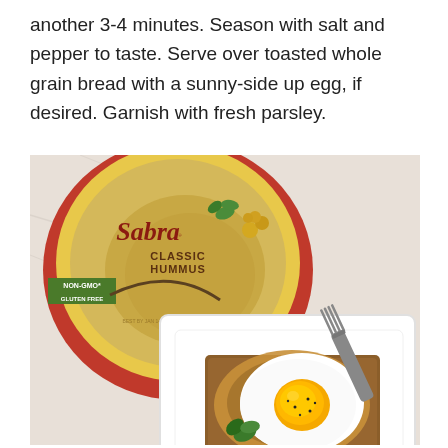another 3-4 minutes. Season with salt and pepper to taste. Serve over toasted whole grain bread with a sunny-side up egg, if desired. Garnish with fresh parsley.
[Figure (photo): A container of Sabra Classic Hummus (NON-GMO, GLUTEN FREE) on a marble surface next to a white square plate holding toast topped with hummus mixture and a sunny-side up egg, garnished with fresh parsley, with a fork resting on the plate.]